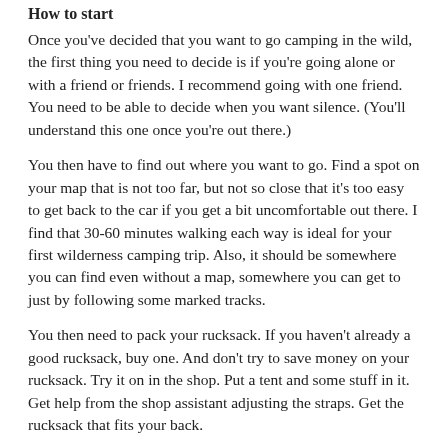How to start
Once you've decided that you want to go camping in the wild, the first thing you need to decide is if you're going alone or with a friend or friends. I recommend going with one friend. You need to be able to decide when you want silence. (You'll understand this one once you're out there.)
You then have to find out where you want to go. Find a spot on your map that is not too far, but not so close that it's too easy to get back to the car if you get a bit uncomfortable out there. I find that 30-60 minutes walking each way is ideal for your first wilderness camping trip. Also, it should be somewhere you can find even without a map, somewhere you can get to just by following some marked tracks.
You then need to pack your rucksack. If you haven't already a good rucksack, buy one. And don't try to save money on your rucksack. Try it on in the shop. Put a tent and some stuff in it. Get help from the shop assistant adjusting the straps. Get the rucksack that fits your back.
One important note: If you haven't been out before, don't start with winter camping. It's a great and fun thing to do, but